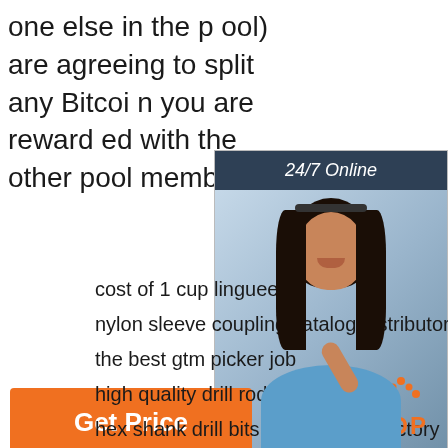one else in the pool) are agreeing to split any Bitcoin you are rewarded with the other pool members.
[Figure (illustration): Advertisement banner with woman wearing headset, '24/7 Online' header, 'Click here for free chat!' text, and orange QUOTATION button]
[Figure (other): Get Price orange button]
cost of 1 cup linguee
nylon sleeve coupling catalog distributors
the best gtm picker job
high quality drill rods for mining
hex shank drill bits made in usa factory
[Figure (logo): TOP logo with orange dots forming triangle and orange TOP text]